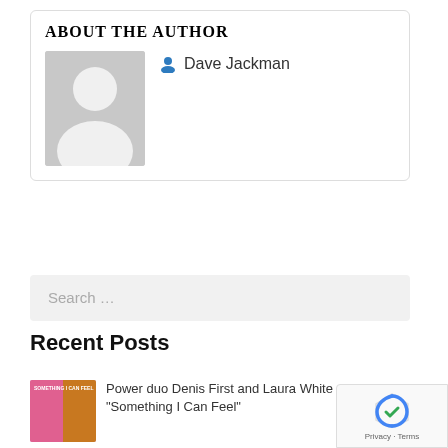ABOUT THE AUTHOR
Dave Jackman
[Figure (other): Gray placeholder avatar with white silhouette of a person]
Search ...
Recent Posts
[Figure (photo): Album cover thumbnail for Something I Can Feel]
Power duo Denis First and Laura White are here with "Something I Can Feel"